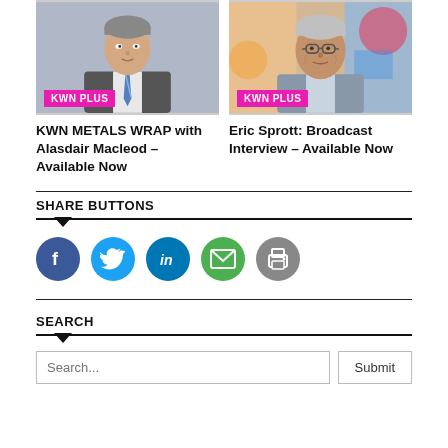[Figure (photo): Man in suit with blue striped tie, professional headshot, with KWN PLUS badge overlay]
[Figure (photo): Older man with glasses in front of colorful background, with KWN PLUS badge overlay]
KWN METALS WRAP with Alasdair Macleod – Available Now
Eric Sprott: Broadcast Interview – Available Now
SHARE BUTTONS
[Figure (infographic): Social share buttons: Facebook (blue circle with f), Twitter (light blue circle with bird), LinkedIn (dark blue circle with in), Email (green circle with envelope), Print (gray circle with printer)]
SEARCH
Search...
Submit